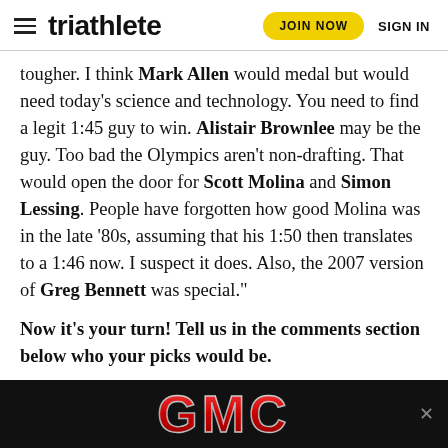triathlete  JOIN NOW  SIGN IN
tougher. I think Mark Allen would medal but would need today's science and technology. You need to find a legit 1:45 guy to win. Alistair Brownlee may be the guy. Too bad the Olympics aren't non-drafting. That would open the door for Scott Molina and Simon Lessing. People have forgotten how good Molina was in the late ‘80s, assuming that his 1:50 then translates to a 1:46 now. I suspect it does. Also, the 2007 version of Greg Bennett was special.”
Now it’s your turn! Tell us in the comments section below who your picks would be.
This story appeared in the March/April 2012 issue of Inside Triathlon magazine.
[Figure (logo): GMC advertisement banner with red GMC logo on black background]